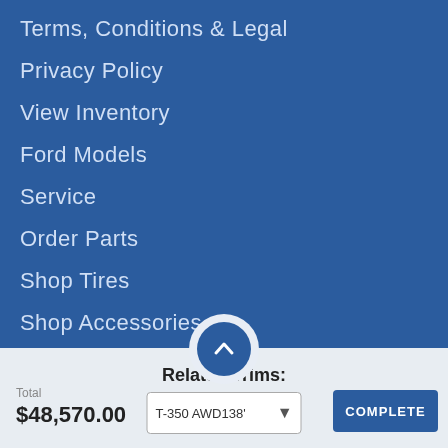Terms, Conditions & Legal
Privacy Policy
View Inventory
Ford Models
Service
Order Parts
Shop Tires
Shop Accessories
Trade In Your Vehicle
Download Ford Pass
Total
$48,570.00
Related Trims:
T-350 AWD138'
COMPLETE